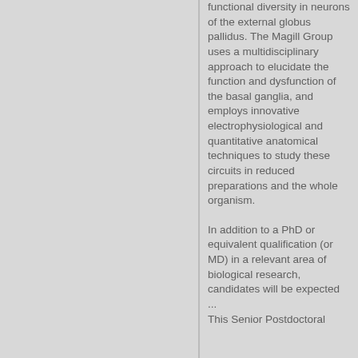functional diversity in neurons of the external globus pallidus. The Magill Group uses a multidisciplinary approach to elucidate the function and dysfunction of the basal ganglia, and employs innovative electrophysiological and quantitative anatomical techniques to study these circuits in reduced preparations and the whole organism.
In addition to a PhD or equivalent qualification (or MD) in a relevant area of biological research, candidates will be expected ...
This Senior Postdoctoral